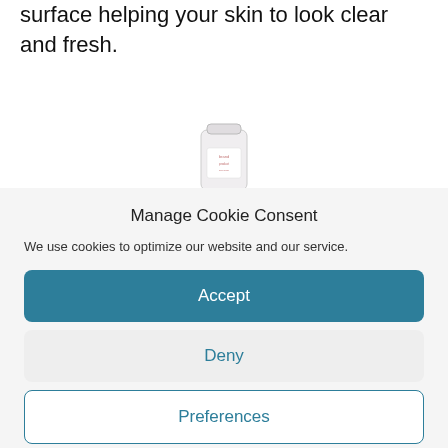surface helping your skin to look clear and fresh.
[Figure (photo): Small skincare product tube/container, white with pink text label]
Manage Cookie Consent
We use cookies to optimize our website and our service.
Accept
Deny
Preferences